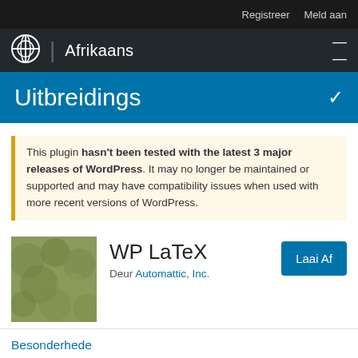Registreer  Meld aan
Afrikaans
Uitbreidings
This plugin hasn't been tested with the latest 3 major releases of WordPress. It may no longer be maintained or supported and may have compatibility issues when used with more recent versions of WordPress.
[Figure (illustration): Green mossy/leafy plugin thumbnail image]
WP LaTeX
Deur Automattic, Inc.
Laai Af
Besonderhede